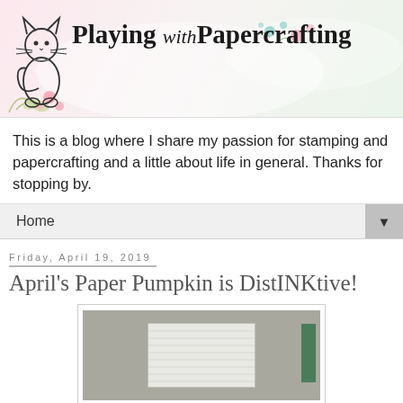[Figure (logo): Playing with Papercrafting blog header banner with cat silhouette illustration, decorative flowers, and blog title text]
This is a blog where I share my passion for stamping and papercrafting and a little about life in general. Thanks for stopping by.
Home ▼
Friday, April 19, 2019
April's Paper Pumpkin is DistINKtive!
[Figure (photo): Photo of a white striped paper craft box/card on a gray surface with a small green element visible at right edge]